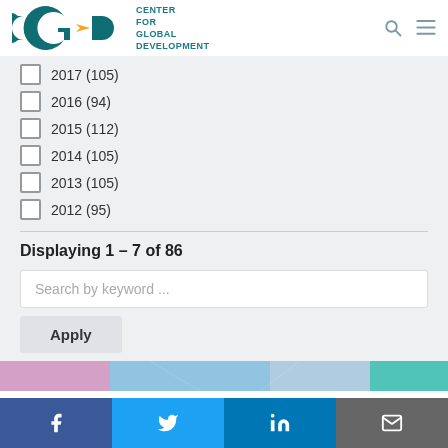CENTER FOR GLOBAL DEVELOPMENT
2017 (105)
2016 (94)
2015 (112)
2014 (105)
2013 (105)
2012 (95)
Displaying 1 – 7 of 86
Search by keyword ...
Apply
[Figure (photo): Colorful currency notes image strip]
Facebook Twitter LinkedIn Email social links